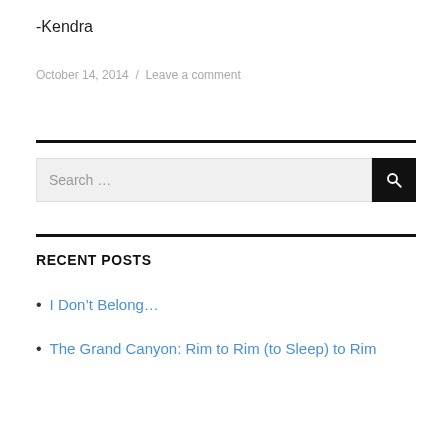-Kendra
October 14, 2014 / Leave a comment
RECENT POSTS
I Don't Belong…
The Grand Canyon: Rim to Rim (to Sleep) to Rim